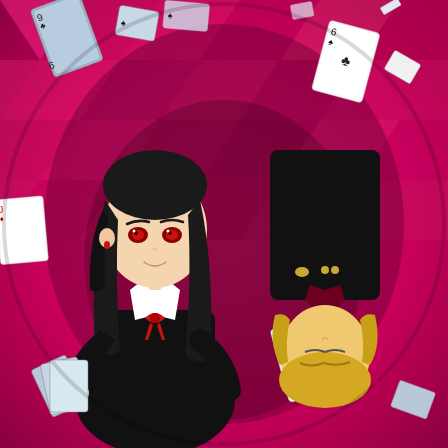[Figure (illustration): Anime illustration from Kaguya-sama: Love is War. Two anime characters are depicted back-to-back on a vivid pink and magenta geometric background. On the left is a young woman with long black hair and red eyes, wearing a black school uniform with a white collar and a red ribbon bow, holding playing cards in her left hand and smiling subtly. On the right, positioned upside-down, is a young man with blonde hair wearing a black school uniform with gold buttons, also surrounded by scattered playing cards including an ace of hearts and cards with club/spade suits. Playing cards and card fragments are scattered throughout the dynamic composition.]